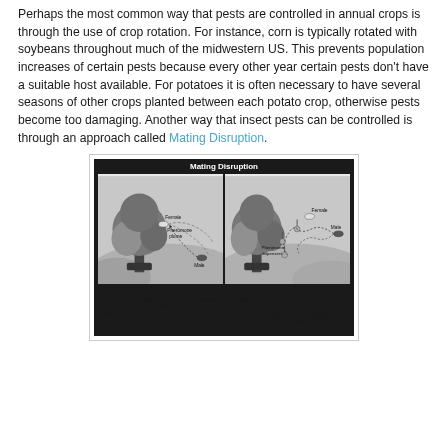Perhaps the most common way that pests are controlled in annual crops is through the use of crop rotation.  For instance, corn is typically rotated with soybeans throughout much of the midwestern US.  This prevents population increases of certain pests because every other year certain pests don't have a suitable host available.  For potatoes it is often necessary to have several seasons of other crops planted between each potato crop, otherwise pests become too damaging.  Another way that insect pests can be controlled is through an approach called Mating Disruption.
[Figure (illustration): Diagram titled 'Mating Disruption' showing two panels. Panel A: Normal male location, where the female releases pheromone and the male flies towards the source. Shows a tree with a female and pheromone plume, and a male flying toward it. Panel B: In mating disruption, pheromone is released from dispensers that act as false sources, or pheromone is released at such a high rate that the male is disoriented or unable to detect the plume of the calling female. Shows a tree with multiple pheromone dispensers and a male flying erratically.]